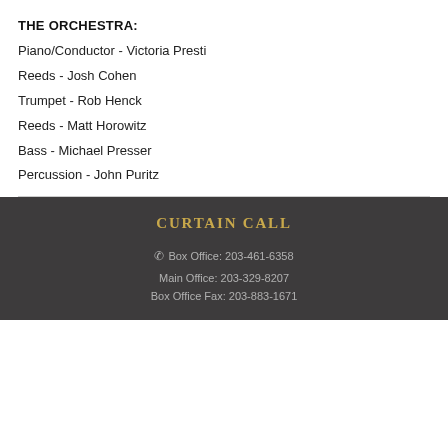THE ORCHESTRA:
Piano/Conductor - Victoria Presti
Reeds - Josh Cohen
Trumpet - Rob Henck
Reeds - Matt Horowitz
Bass - Michael Presser
Percussion - John Puritz
CURTAIN CALL
Box Office: 203-461-6358
Main Office: 203-329-8207
Box Office Fax: 203-883-1671